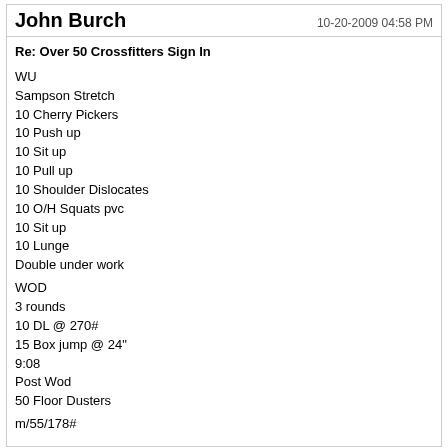John Burch | 10-20-2009 04:58 PM
Re: Over 50 Crossfitters Sign In
WU
Sampson Stretch
10 Cherry Pickers
10 Push up
10 Sit up
10 Pull up
10 Shoulder Dislocates
10 O/H Squats pvc
10 Sit up
10 Lunge
Double under work

WOD
3 rounds
10 DL @ 270#
15 Box jump @ 24"
9:08
Post Wod
50 Floor Dusters

m/55/178#
Bill Houghton | 10-20-2009 05:05 PM
Re: Over 50 Crossfitters Sign In